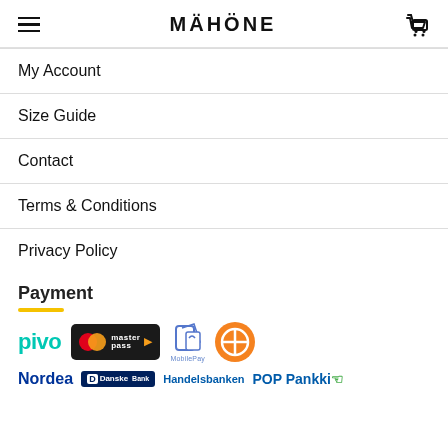MÄHÖNE
My Account
Size Guide
Contact
Terms & Conditions
Privacy Policy
Payment
[Figure (logo): Payment method logos: Pivo, Masterpass, MobilePay, OP bank, Nordea, Danske Bank, Handelsbanken, POP Pankki]